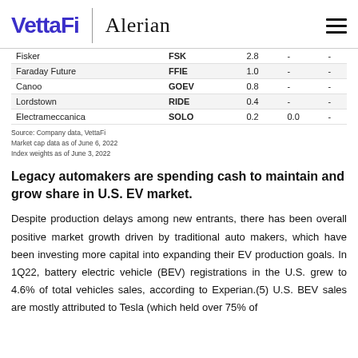VettaFi | Alerian
| Company | Ticker | Market Cap ($B) | Col4 | Col5 |
| --- | --- | --- | --- | --- |
| Fisker | FSK | 2.8 | - | - |
| Faraday Future | FFIE | 1.0 | - | - |
| Canoo | GOEV | 0.8 | - | - |
| Lordstown | RIDE | 0.4 | - | - |
| Electrameccanica | SOLO | 0.2 | 0.0 | - |
Source: Company data, VettaFi
Market cap data as of June 6, 2022
Index weights as of June 3, 2022
Legacy automakers are spending cash to maintain and grow share in U.S. EV market.
Despite production delays among new entrants, there has been overall positive market growth driven by traditional auto makers, which have been investing more capital into expanding their EV production goals. In 1Q22, battery electric vehicle (BEV) registrations in the U.S. grew to 4.6% of total vehicles sales, according to Experian.(5) U.S. BEV sales are mostly attributed to Tesla (which held over 75% of